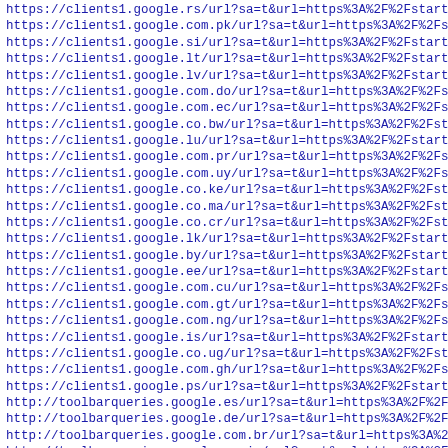https://clients1.google.rs/url?sa=t&url=https%3A%2F%2Fstart
https://clients1.google.com.pk/url?sa=t&url=https%3A%2F%2Fs
https://clients1.google.si/url?sa=t&url=https%3A%2F%2Fstart
https://clients1.google.lt/url?sa=t&url=https%3A%2F%2Fstart
https://clients1.google.lv/url?sa=t&url=https%3A%2F%2Fstart
https://clients1.google.com.do/url?sa=t&url=https%3A%2F%2Fs
https://clients1.google.com.ec/url?sa=t&url=https%3A%2F%2Fs
https://clients1.google.co.bw/url?sa=t&url=https%3A%2F%2Fst
https://clients1.google.lu/url?sa=t&url=https%3A%2F%2Fstart
https://clients1.google.com.pr/url?sa=t&url=https%3A%2F%2Fs
https://clients1.google.com.uy/url?sa=t&url=https%3A%2F%2Fs
https://clients1.google.co.ke/url?sa=t&url=https%3A%2F%2Fst
https://clients1.google.co.ma/url?sa=t&url=https%3A%2F%2Fst
https://clients1.google.co.cr/url?sa=t&url=https%3A%2F%2Fst
https://clients1.google.lk/url?sa=t&url=https%3A%2F%2Fstart
https://clients1.google.by/url?sa=t&url=https%3A%2F%2Fstart
https://clients1.google.ee/url?sa=t&url=https%3A%2F%2Fstart
https://clients1.google.com.cu/url?sa=t&url=https%3A%2F%2Fs
https://clients1.google.com.gt/url?sa=t&url=https%3A%2F%2Fs
https://clients1.google.com.ng/url?sa=t&url=https%3A%2F%2Fs
https://clients1.google.is/url?sa=t&url=https%3A%2F%2Fstart
https://clients1.google.co.ug/url?sa=t&url=https%3A%2F%2Fst
https://clients1.google.com.gh/url?sa=t&url=https%3A%2F%2Fs
https://clients1.google.ps/url?sa=t&url=https%3A%2F%2Fstart
http://toolbarqueries.google.es/url?sa=t&url=https%3A%2F%2F
http://toolbarqueries.google.de/url?sa=t&url=https%3A%2F%2F
http://toolbarqueries.google.com.br/url?sa=t&url=https%3A%2
http://toolbarqueries.google.co.jp/url?sa=t&url=https%3A%2F
http://toolbarqueries.google.pl/url?sa=t&url=https%3A%2F%2F
http://toolbarqueries.google.ru/url?sa=t&url=https%3A%2F%2F